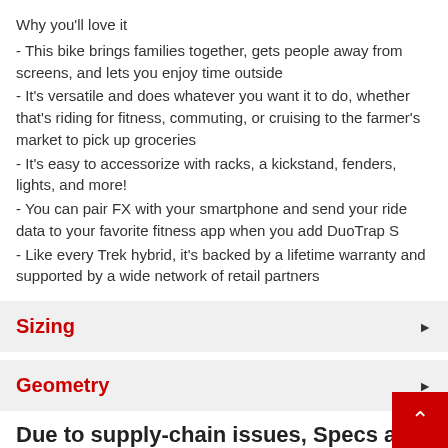Why you'll love it
- This bike brings families together, gets people away from screens, and lets you enjoy time outside
- It's versatile and does whatever you want it to do, whether that's riding for fitness, commuting, or cruising to the farmer's market to pick up groceries
- It's easy to accessorize with racks, a kickstand, fenders, lights, and more!
- You can pair FX with your smartphone and send your ride data to your favorite fitness app when you add DuoTrap S
- Like every Trek hybrid, it's backed by a lifetime warranty and supported by a wide network of retail partners
Sizing
Geometry
Due to supply-chain issues, Specs are